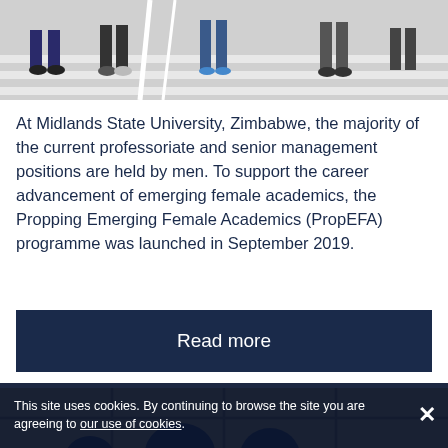[Figure (photo): Partial photo showing people sitting on steps/stairs, cropped at the top of the page, showing legs and feet on white steps]
At Midlands State University, Zimbabwe, the majority of the current professoriate and senior management positions are held by men. To support the career advancement of emerging female academics, the Propping Emerging Female Academics (PropEFA) programme was launched in September 2019.
Read more
[Figure (photo): Partial photo showing a tiled wall in golden/yellow color with dark grid lines, and dark silhouette of people's heads at the bottom]
This site uses cookies. By continuing to browse the site you are agreeing to our use of cookies.